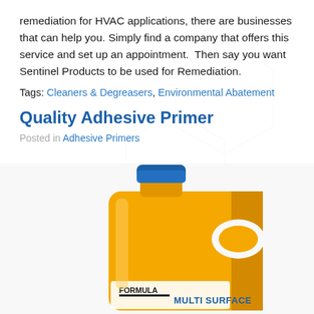remediation for HVAC applications, there are businesses that can help you. Simply find a company that offers this service and set up an appointment.  Then say you want Sentinel Products to be used for Remediation.
Tags: Cleaners & Degreasers, Environmental Abatement
Quality Adhesive Primer
Posted in Adhesive Primers
[Figure (photo): Orange plastic gallon jug with blue cap. Label at bottom reads FORMULA MULTI SURFACE in bold text.]